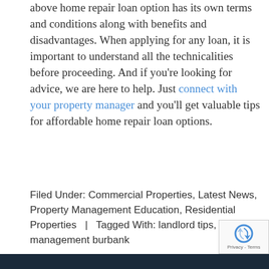above home repair loan option has its own terms and conditions along with benefits and disadvantages. When applying for any loan, it is important to understand all the technicalities before proceeding. And if you're looking for advice, we are here to help. Just connect with your property manager and you'll get valuable tips for affordable home repair loan options.
Filed Under: Commercial Properties, Latest News, Property Management Education, Residential Properties | Tagged With: landlord tips, property management burbank